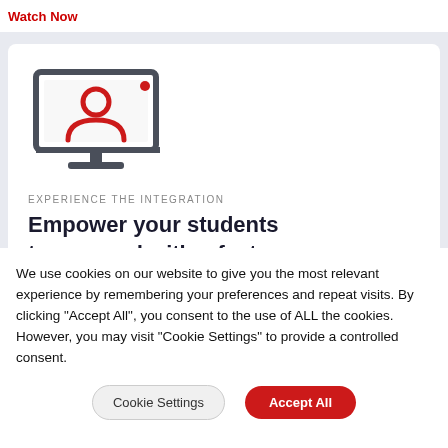Watch Now
[Figure (illustration): Monitor/desktop computer icon with a red person/user silhouette on screen and a small red dot in the top-right corner of the screen]
EXPERIENCE THE INTEGRATION
Empower your students to succeed with a fast
We use cookies on our website to give you the most relevant experience by remembering your preferences and repeat visits. By clicking "Accept All", you consent to the use of ALL the cookies. However, you may visit "Cookie Settings" to provide a controlled consent.